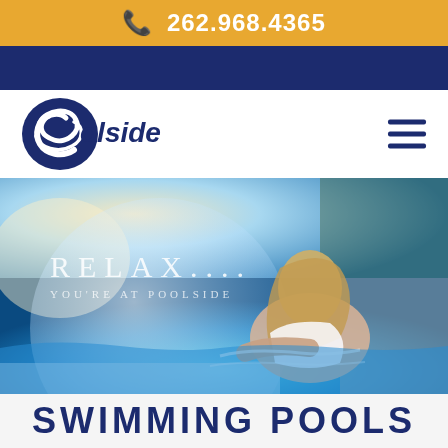262.968.4365
[Figure (logo): Poolside company logo with stylized blue swirl and italic 'Poolside' text]
[Figure (photo): Woman relaxing at a swimming pool edge with text overlay 'RELAX.... YOU'RE AT POOLSIDE']
SWIMMING POOLS